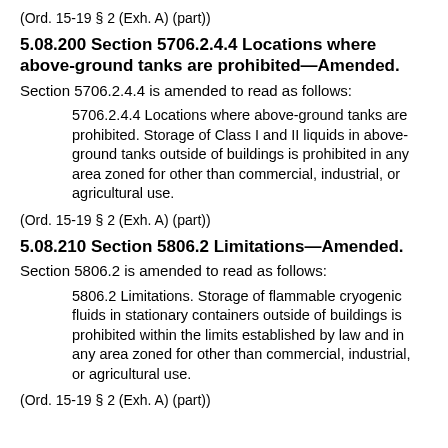(Ord. 15-19 § 2 (Exh. A) (part))
5.08.200 Section 5706.2.4.4 Locations where above-ground tanks are prohibited—Amended.
Section 5706.2.4.4 is amended to read as follows:
5706.2.4.4 Locations where above-ground tanks are prohibited. Storage of Class I and II liquids in above-ground tanks outside of buildings is prohibited in any area zoned for other than commercial, industrial, or agricultural use.
(Ord. 15-19 § 2 (Exh. A) (part))
5.08.210 Section 5806.2 Limitations—Amended.
Section 5806.2 is amended to read as follows:
5806.2 Limitations. Storage of flammable cryogenic fluids in stationary containers outside of buildings is prohibited within the limits established by law and in any area zoned for other than commercial, industrial, or agricultural use.
(Ord. 15-19 § 2 (Exh. A) (part))